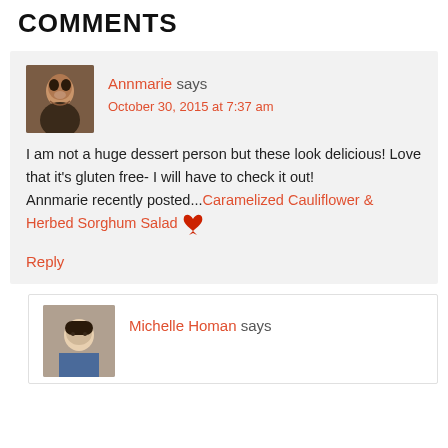COMMENTS
Annmarie says
October 30, 2015 at 7:37 am
I am not a huge dessert person but these look delicious! Love that it’s gluten free- I will have to check it out!
Annmarie recently posted...Caramelized Cauliflower & Herbed Sorghum Salad
Reply
Michelle Homan says